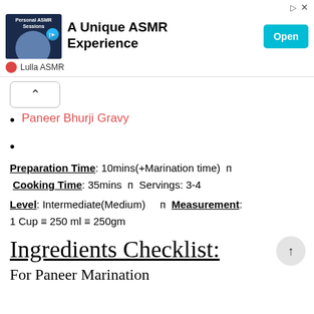[Figure (screenshot): Advertisement banner for 'A Unique ASMR Experience' by Lulla ASMR with an Open button]
Paneer Bhurji Gravy
Preparation Time: 10mins(+Marination time)  Cooking Time: 35mins  Servings: 3-4
Level: Intermediate(Medium)  Measurement: 1 Cup ≡ 250 ml ≡ 250gm
Ingredients Checklist:
For Paneer Marination